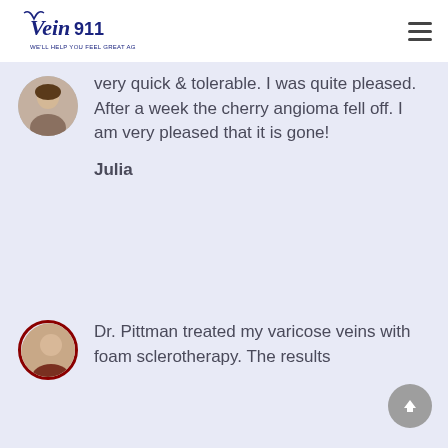[Figure (logo): Vein911 logo — stylized script 'Vein911' in dark navy blue with tagline 'We'll Help You Feel Great Again']
very quick & tolerable. I was quite pleased. After a week the cherry angioma fell off. I am very pleased that it is gone!
Julia
Dr. Pittman treated my varicose veins with foam sclerotherapy. The results...